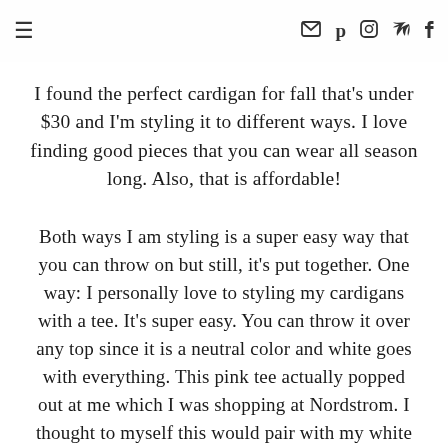≡  ✉ p ⊙ ✓ f
I found the perfect cardigan for fall that's under $30 and I'm styling it to different ways. I love finding good pieces that you can wear all season long. Also, that is affordable!
Both ways I am styling is a super easy way that you can throw on but still, it's put together. One way: I personally love to styling my cardigans with a tee. It's super easy. You can throw it over any top since it is a neutral color and white goes with everything. This pink tee actually popped out at me which I was shopping at Nordstrom. I thought to myself this would pair with my white cardigan perfectly. It would also